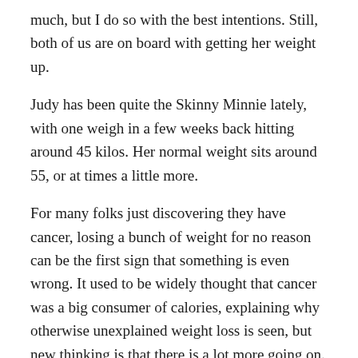much, but I do so with the best intentions. Still, both of us are on board with getting her weight up.
Judy has been quite the Skinny Minnie lately, with one weigh in a few weeks back hitting around 45 kilos. Her normal weight sits around 55, or at times a little more.
For many folks just discovering they have cancer, losing a bunch of weight for no reason can be the first sign that something is even wrong. It used to be widely thought that cancer was a big consumer of calories, explaining why otherwise unexplained weight loss is seen, but new thinking is that there is a lot more going on. Though some still simply say that cancer is greedy, and indeed Judy and I were told just that by a palliative care nurse only a couple of weeks ago.